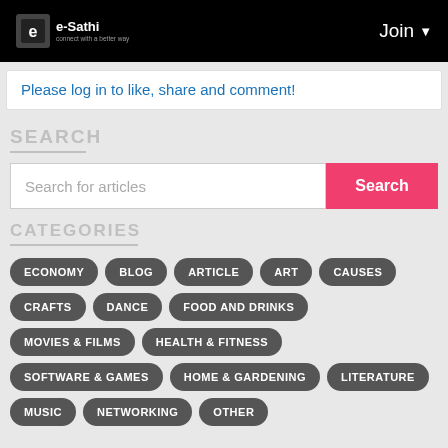[Figure (logo): e-Sathi logo with icon on black header bar]
Join ▼
Please log in to like, share and comment!
SEARCH
Search for articles
CATEGORIES
ECONOMY
BLOG
ARTICLE
ART
CAUSES
CRAFTS
DANCE
FOOD AND DRINKS
MOVIES & FILMS
HEALTH & FITNESS
SOFTWARE & GAMES
HOME & GARDENING
LITERATURE
MUSIC
NETWORKING
OTHER